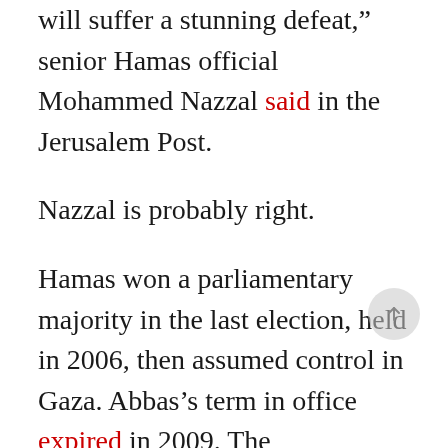will suffer a stunning defeat," senior Hamas official Mohammed Nazzal said in the Jerusalem Post.
Nazzal is probably right.
Hamas won a parliamentary majority in the last election, held in 2006, then assumed control in Gaza. Abbas’s term in office expired in 2009. The parliament’s mandate ended a year later. Since then, the parliament has been effectively defunct but Abbas stayed in office.